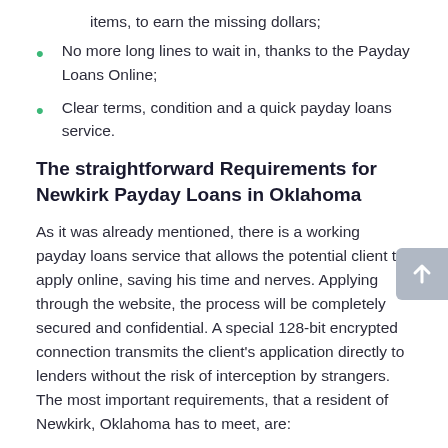items, to earn the missing dollars;
No more long lines to wait in, thanks to the Payday Loans Online;
Clear terms, condition and a quick payday loans service.
The straightforward Requirements for Newkirk Payday Loans in Oklahoma
As it was already mentioned, there is a working payday loans service that allows the potential client to apply online, saving his time and nerves. Applying through the website, the process will be completely secured and confidential. A special 128-bit encrypted connection transmits the client's application directly to lenders without the risk of interception by strangers. The most important requirements, that a resident of Newkirk, Oklahoma has to meet, are: